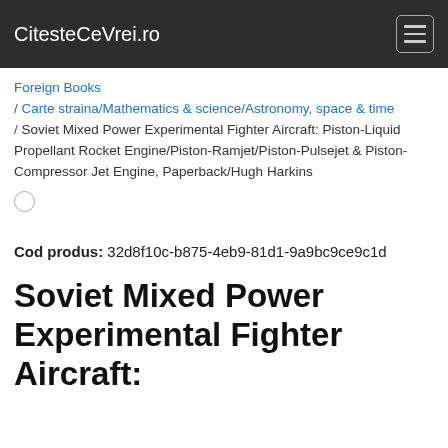CitesteCeVrei.ro
Foreign Books / Carte straina/Mathematics & science/Astronomy, space & time / Soviet Mixed Power Experimental Fighter Aircraft: Piston-Liquid Propellant Rocket Engine/Piston-Ramjet/Piston-Pulsejet & Piston-Compressor Jet Engine, Paperback/Hugh Harkins
Cod produs: 32d8f10c-b875-4eb9-81d1-9a9bc9ce9c1d
Soviet Mixed Power Experimental Fighter Aircraft: